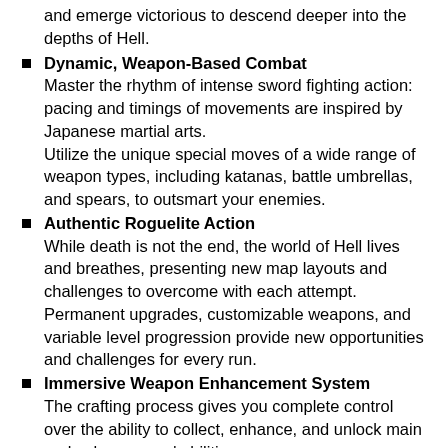and emerge victorious to descend deeper into the depths of Hell.
Dynamic, Weapon-Based Combat
Master the rhythm of intense sword fighting action: pacing and timings of movements are inspired by Japanese martial arts.
Utilize the unique special moves of a wide range of weapon types, including katanas, battle umbrellas, and spears, to outsmart your enemies.
Authentic Roguelite Action
While death is not the end, the world of Hell lives and breathes, presenting new map layouts and challenges to overcome with each attempt.
Permanent upgrades, customizable weapons, and variable level progression provide new opportunities and challenges for every run.
Immersive Weapon Enhancement System
The crafting process gives you complete control over the ability to collect, enhance, and unlock main and sub weapons' abilities.
Unlock enhancements to your favorite weapons at each run, and get back in the action!
Soul Devour Power-Up System